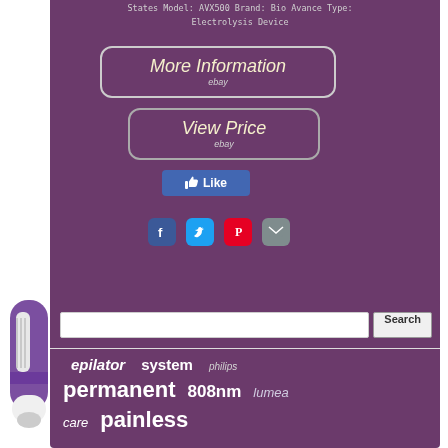States Model: AVX500 Brand: Bio Avance Type: Electrolysis Device
[Figure (screenshot): More Information button with eBay branding, rounded rectangle border on purple background]
[Figure (screenshot): View Price button with eBay branding, rounded rectangle border on purple background]
[Figure (screenshot): Facebook Like button in blue]
[Figure (screenshot): Social sharing icons: Facebook, Twitter, Pinterest, Email]
[Figure (photo): Purple epilator/electrolysis device on left side]
[Figure (screenshot): Search bar with text input and Search button]
epilator  system  philips
permanent  808nm  lumea
care  painless